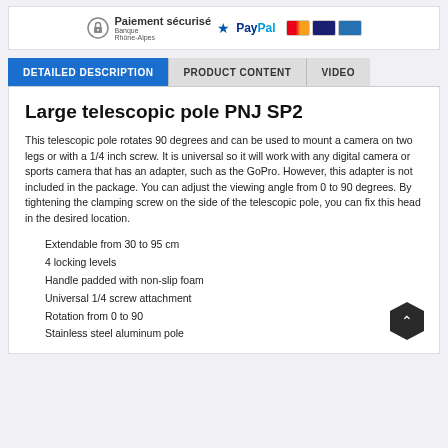[Figure (other): Paiement sécurisé banner with lock icon, Banque Rhone-Alpes logo, PayPal logo, and credit card icons (Mastercard, Visa, Amex)]
DETAILED DESCRIPTION | PRODUCT CONTENT | VIDEO
Large telescopic pole PNJ SP2
This telescopic pole rotates 90 degrees and can be used to mount a camera on two legs or with a 1/4 inch screw. It is universal so it will work with any digital camera or sports camera that has an adapter, such as the GoPro. However, this adapter is not included in the package. You can adjust the viewing angle from 0 to 90 degrees. By tightening the clamping screw on the side of the telescopic pole, you can fix this head in the desired location.
Extendable from 30 to 95 cm
4 locking levels
Handle padded with non-slip foam
Universal 1/4 screw attachment
Rotation from 0 to 90
Stainless steel aluminum pole